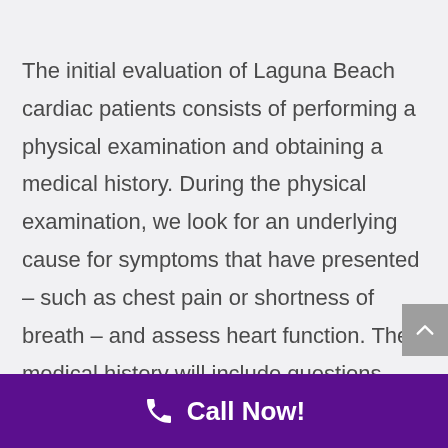The initial evaluation of Laguna Beach cardiac patients consists of performing a physical examination and obtaining a medical history. During the physical examination, we look for an underlying cause for symptoms that have presented – such as chest pain or shortness of breath – and assess heart function. The medical history will include questions about heart problems or symptoms, family history, medication use and other medical
Call Now!